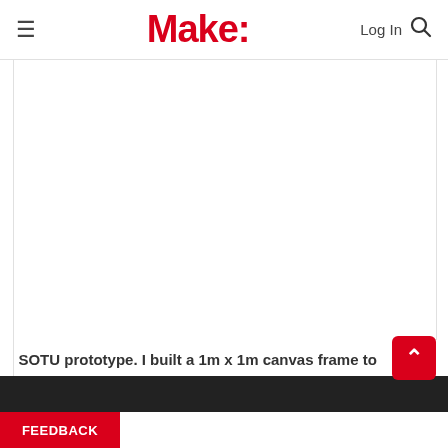Make:
[Figure (photo): White/blank area representing a photo of the SOTU prototype with a 1m x 1m canvas frame for wire length measurement.]
SOTU prototype. I built a 1m x 1m canvas frame to ensure wire lengths were properly measured.